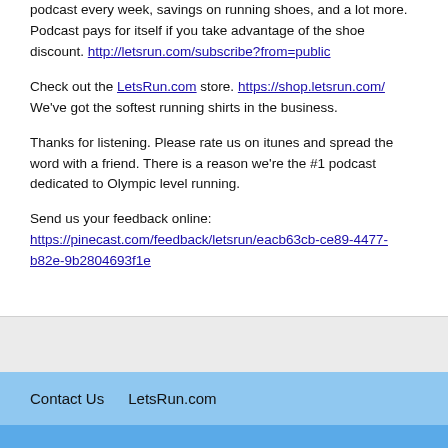podcast every week, savings on running shoes, and a lot more. Podcast pays for itself if you take advantage of the shoe discount. http://letsrun.com/subscribe?from=public
Check out the LetsRun.com store. https://shop.letsrun.com/ We've got the softest running shirts in the business.
Thanks for listening. Please rate us on itunes and spread the word with a friend. There is a reason we're the #1 podcast dedicated to Olympic level running.
Send us your feedback online: https://pinecast.com/feedback/letsrun/eacb63cb-ce89-4477-b82e-9b2804693f1e
Contact Us   LetsRun.com
LetsRun.com's weekly podcast where we go behind the scenes of the professional running, marathoning, and track and field world.